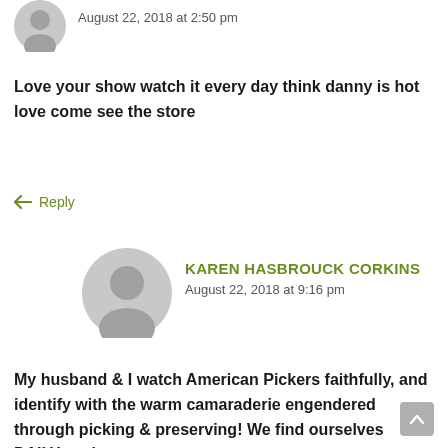August 22, 2018 at 2:50 pm
Love your show watch it every day think danny is hot love come see the store
↳ Reply
KAREN HASBROUCK CORKINS
August 22, 2018 at 9:16 pm
My husband & I watch American Pickers faithfully, and identify with the warm camaraderie engendered through picking & preserving! We find ourselves DAILY saying,